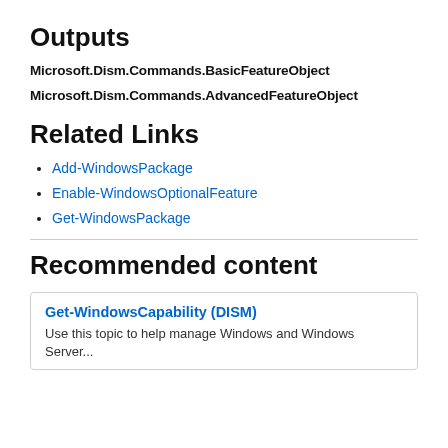Outputs
Microsoft.Dism.Commands.BasicFeatureObject
Microsoft.Dism.Commands.AdvancedFeatureObject
Related Links
Add-WindowsPackage
Enable-WindowsOptionalFeature
Get-WindowsPackage
Recommended content
Get-WindowsCapability (DISM)
Use this topic to help manage Windows and Windows Server...